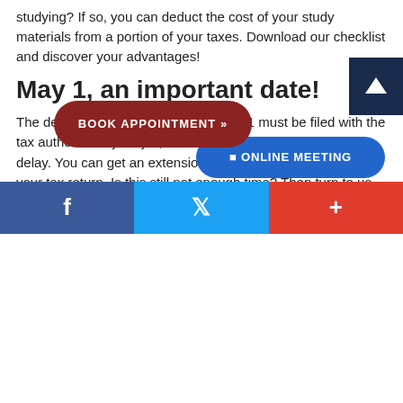studying? If so, you can deduct the cost of your study materials from a portion of your taxes. Download our checklist and discover your advantages!
May 1, an important date!
The declaration of your income for 2021 must be filed with the tax authorities by May 1, 2022. If unsuccessful? Request to delay. You can get an extension to September 1 to submit your tax return. Is this still not enough time? Then turn to us for help. We can even delay applications until May 1, 2023. Please contact us at BAS.
[Figure (other): BOOK APPOINTMENT button (dark red pill shape), ONLINE MEETING button (blue pill shape), and an up-arrow scroll button (dark navy square)]
[Figure (other): Social sharing bar with Facebook (blue), Twitter (light blue), and plus/share (red) buttons]